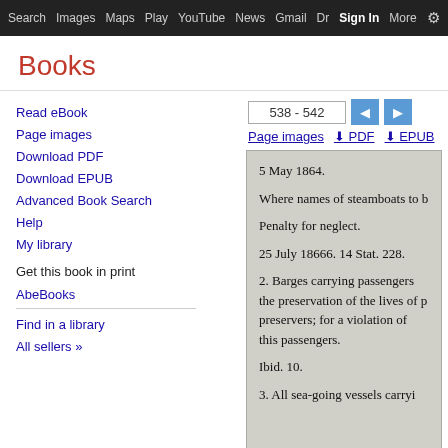Search  Images  Maps  Play  YouTube  News  Gmail  Dr  Sign In  More  ⚙
Books
538 - 542
Read eBook
Page images
Download PDF
Download EPUB
Advanced Book Search
Help
My library
Get this book in print
AbeBooks
Find in a library
All sellers »
Page images  ⬇ PDF  ⬇ EPUB
5 May 1864.

Where names of steamboats to b

Penalty for neglect.

25 July 18666. 14 Stat. 228.

2. Barges carrying passengers the preservation of the lives of p preservers; for a violation of this passengers.

Ibid. 10.

3. All sea-going vessels carryi